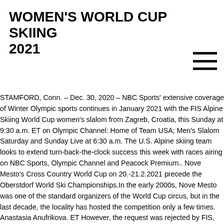WOMEN'S WORLD CUP SKIING 2021
[Figure (other): Hamburger menu icon with three horizontal lines]
STAMFORD, Conn. – Dec. 30, 2020 – NBC Sports' extensive coverage of Winter Olympic sports continues in January 2021 with the FIS Alpine Skiing World Cup women's slalom from Zagreb, Croatia, this Sunday at 9:30 a.m. ET on Olympic Channel: Home of Team USA; Men's Slalom Saturday and Sunday Live at 6:30 a.m. The U.S. Alpine skiing team looks to extend turn-back-the-clock success this week with races airing on NBC Sports, Olympic Channel and Peacock Premium.. Nove Mesto's Cross Country World Cup on 20.-21.2.2021 precede the Oberstdorf World Ski Championships.In the early 2000s, Nove Mesto was one of the standard organizers of the World Cup circus, but in the last decade, the locality has hosted the competition only a few times. Anastasia Anufrikova. ET However, the request was rejected by FIS, and the organizers then moved ... Replay. 2021 FIL World Luge Championships Live this Saturday at 2:30 p.m. Alpine Skiing: Women's World Cup Results And Standings Muhammad Irfan 2 months ago Fri 18th December 2020 | 06:40 PM Vald'Isre, France (1st Point) Pakistan Point News – 18th Dec 2020)...